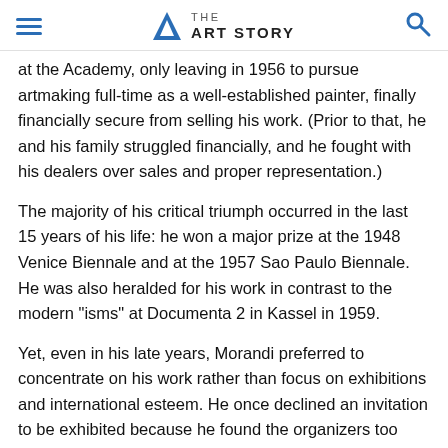THE ART STORY
at the Academy, only leaving in 1956 to pursue artmaking full-time as a well-established painter, finally financially secure from selling his work. (Prior to that, he and his family struggled financially, and he fought with his dealers over sales and proper representation.)
The majority of his critical triumph occurred in the last 15 years of his life: he won a major prize at the 1948 Venice Biennale and at the 1957 Sao Paulo Biennale. He was also heralded for his work in contrast to the modern "isms" at Documenta 2 in Kassel in 1959.
Yet, even in his late years, Morandi preferred to concentrate on his work rather than focus on exhibitions and international esteem. He once declined an invitation to be exhibited because he found the organizers too insistent: "They really want to deprive me of that small measure of